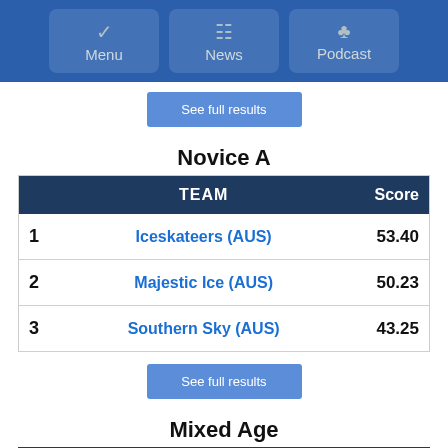Menu | News | Podcast
See full results
Novice A
|  | TEAM | Score |
| --- | --- | --- |
| 1 | Iceskateers (AUS) | 53.40 |
| 2 | Majestic Ice (AUS) | 50.23 |
| 3 | Southern Sky (AUS) | 43.25 |
See full results
Mixed Age